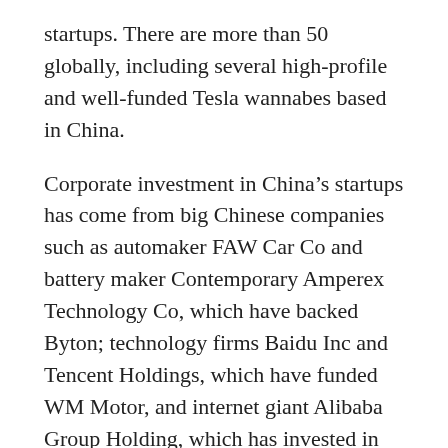startups. There are more than 50 globally, including several high-profile and well-funded Tesla wannabes based in China.
Corporate investment in China's startups has come from big Chinese companies such as automaker FAW Car Co and battery maker Contemporary Amperex Technology Co, which have backed Byton; technology firms Baidu Inc and Tencent Holdings, which have funded WM Motor, and internet giant Alibaba Group Holding, which has invested in Xiaopeng Motors.
In the United States, GM and BMW have backed Proterra, the electric bus maker, while Caterpillar Inc, which is best known for heavy construction machinery, has invested in...